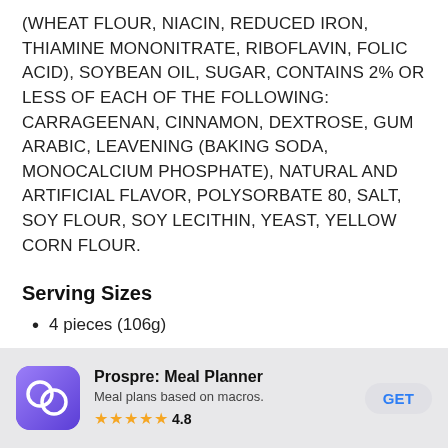(WHEAT FLOUR, NIACIN, REDUCED IRON, THIAMINE MONONITRATE, RIBOFLAVIN, FOLIC ACID), SOYBEAN OIL, SUGAR, CONTAINS 2% OR LESS OF EACH OF THE FOLLOWING: CARRAGEENAN, CINNAMON, DEXTROSE, GUM ARABIC, LEAVENING (BAKING SODA, MONOCALCIUM PHOSPHATE), NATURAL AND ARTIFICIAL FLAVOR, POLYSORBATE 80, SALT, SOY FLOUR, SOY LECITHIN, YEAST, YELLOW CORN FLOUR.
Serving Sizes
4 pieces (106g)
[Figure (other): App store advertisement banner for 'Prospre: Meal Planner' with app icon, subtitle 'Meal plans based on macros.', 4.8 star rating, and GET button.]